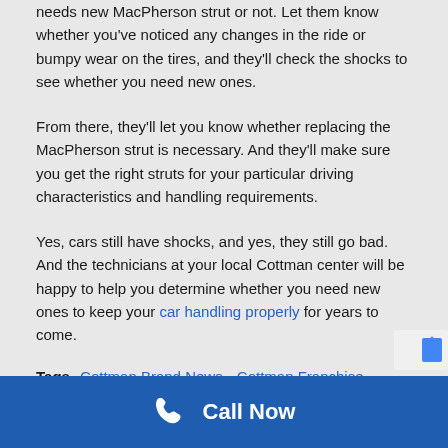needs new MacPherson strut or not. Let them know whether you've noticed any changes in the ride or bumpy wear on the tires, and they'll check the shocks to see whether you need new ones.
From there, they'll let you know whether replacing the MacPherson strut is necessary. And they'll make sure you get the right struts for your particular driving characteristics and handling requirements.
Yes, cars still have shocks, and yes, they still go bad. And the technicians at your local Cottman center will be happy to help you determine whether you need new ones to keep your car handling properly for years to come.
Tags  Cottman Brand News  Cottman Franchise Development  Franchisee's In the News
Call Now